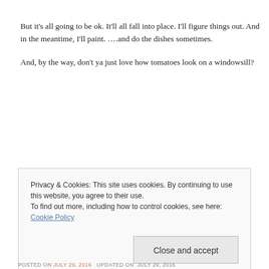But it's all going to be ok. It'll all fall into place. I'll figure things out. And in the meantime, I'll paint. ….and do the dishes sometimes.

And, by the way, don't ya just love how tomatoes look on a windowsill?
Privacy & Cookies: This site uses cookies. By continuing to use this website, you agree to their use.
To find out more, including how to control cookies, see here: Cookie Policy
Close and accept
POSTED ON JULY 29, 2016 UPDATED ON JULY 29, 2016